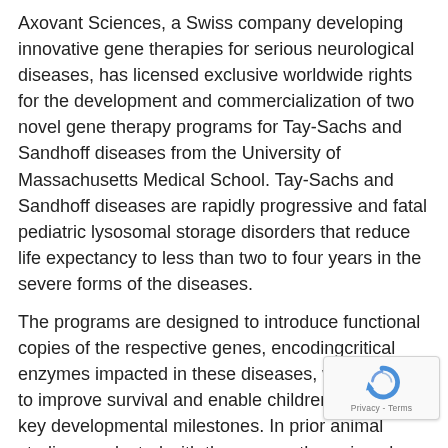Axovant Sciences, a Swiss company developing innovative gene therapies for serious neurological diseases, has licensed exclusive worldwide rights for the development and commercialization of two novel gene therapy programs for Tay-Sachs and Sandhoff diseases from the University of Massachusetts Medical School. Tay-Sachs and Sandhoff diseases are rapidly progressive and fatal pediatric lysosomal storage disorders that reduce life expectancy to less than two to four years in the severe forms of the diseases.
The programs are designed to introduce functional copies of the respective genes, encodingcritical enzymes impacted in these diseases, with an aim to improve survival and enable children to reach key developmental milestones. In prior animal studies conducted with these gene therapies, dose-dependent increases in enzyme activity, reductions in accumulated gangliosides and prolonged survival have been observed.
[Figure (other): Google reCAPTCHA badge overlay in bottom-right corner showing the reCAPTCHA logo and 'Privacy - Terms' text]